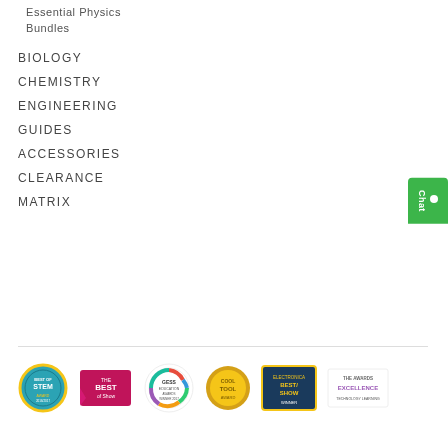Essential Physics
Bundles
BIOLOGY
CHEMISTRY
ENGINEERING
GUIDES
ACCESSORIES
CLEARANCE
MATRIX
[Figure (logo): Row of six award badges/logos including Best of STEM, Best of Show, GESS Education Awards Winner 2017, gold tool award, Best of Show Winner, and The Awards Excellence]